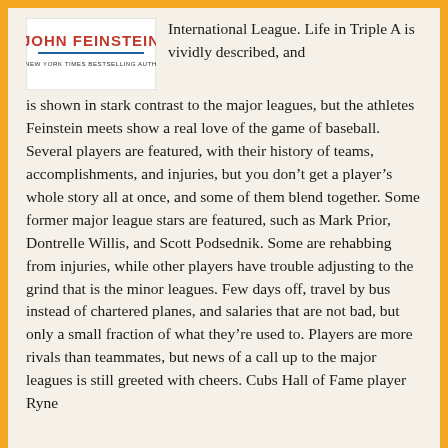[Figure (illustration): Book cover image showing 'JOHN FEINSTEIN' in red letters with '#1 NEW YORK TIMES BESTSELLING AUTHOR' subtitle and a blue underline, on a white/light background.]
International League. Life in Triple A is vividly described, and is shown in stark contrast to the major leagues, but the athletes Feinstein meets show a real love of the game of baseball. Several players are featured, with their history of teams, accomplishments, and injuries, but you don't get a player's whole story all at once, and some of them blend together. Some former major league stars are featured, such as Mark Prior, Dontrelle Willis, and Scott Podsednik. Some are rehabbing from injuries, while other players have trouble adjusting to the grind that is the minor leagues. Few days off, travel by bus instead of chartered planes, and salaries that are not bad, but only a small fraction of what they're used to. Players are more rivals than teammates, but news of a call up to the major leagues is still greeted with cheers. Cubs Hall of Fame player Ryne